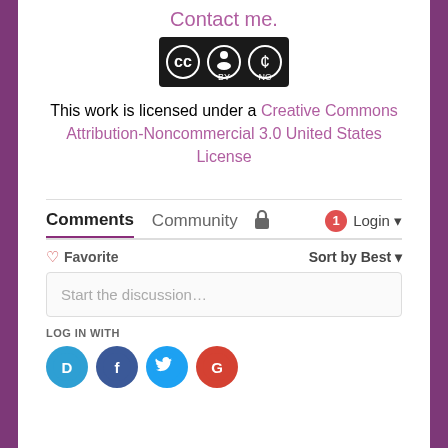Contact me.
[Figure (logo): Creative Commons BY-NC license badge]
This work is licensed under a Creative Commons Attribution-Noncommercial 3.0 United States License
Comments  Community  Login
♡ Favorite   Sort by Best
Start the discussion…
LOG IN WITH
[Figure (logo): Social login icons: Disqus, Facebook, Twitter, Google]